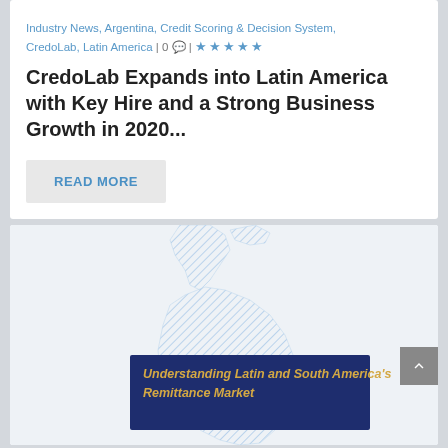by Joachim Bartels | Apr 23, 2021 | #Homepage Slider, #recent Industry News, Argentina, Credit Scoring & Decision System, CredoLab, Latin America | 0 💬 | ★★★★★
CredoLab Expands into Latin America with Key Hire and a Strong Business Growth in 2020...
READ MORE
[Figure (map): Light blue hatched map of Latin America and South America with a dark navy overlay box containing text 'Understanding Latin and South America's Remittance Market' in golden italic font]